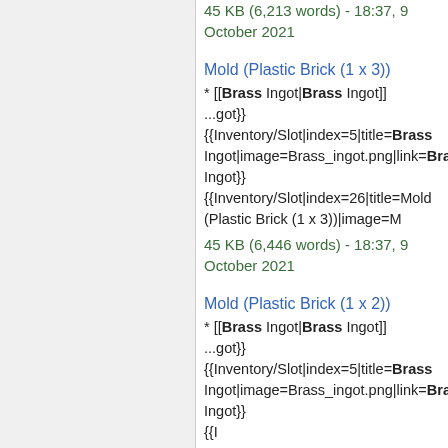45 KB (6,213 words) - 18:37, 9 October 2021
Mold (Plastic Brick (1 x 3))
* [[Brass Ingot|Brass Ingot]] ...got}} {{Inventory/Slot|index=5|title=Brass Ingot|image=Brass_ingot.png|link=Brass Ingot}} {{Inventory/Slot|index=26|title=Mold (Plastic Brick (1 x 3))|image=M
45 KB (6,446 words) - 18:37, 9 October 2021
Mold (Plastic Brick (1 x 2))
* [[Brass Ingot|Brass Ingot]] ...got}} {{Inventory/Slot|index=5|title=Brass Ingot|image=Brass_ingot.png|link=Brass Ingot}} {{Inventory/Slot|index=26|title=Mold